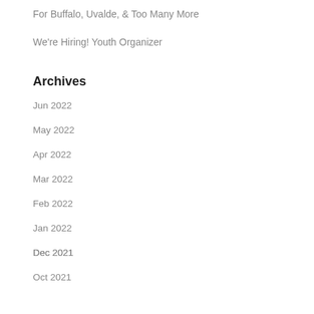For Buffalo, Uvalde, & Too Many More
We're Hiring! Youth Organizer
Archives
Jun 2022
May 2022
Apr 2022
Mar 2022
Feb 2022
Jan 2022
Dec 2021
Oct 2021
Sep 2021
Aug 2021
Jul 2021